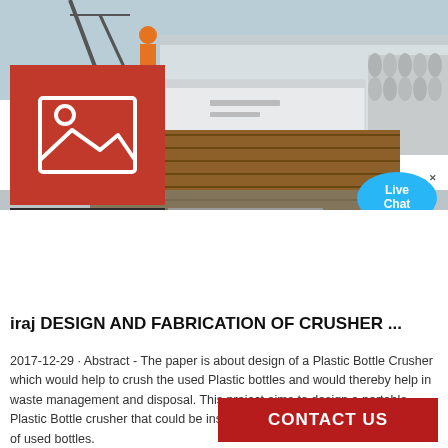[Figure (photo): Industrial site photo showing steel pipes/tubes stacked in foreground, worker in orange on machinery in background, white storage containers with text, and a red image-placeholder icon overlay in upper left corner.]
26 FEB
1910
iraj DESIGN AND FABRICATION OF CRUSHER ...
2017-12-29 · Abstract - The paper is about design of a Plastic Bottle Crusher which would help to crush the used Plastic bottles and would thereby help in waste management and disposal. This project aims to design a portable Plastic Bottle crusher that could be installed anywhere and would aid crush of used bottles.
CONTACT US